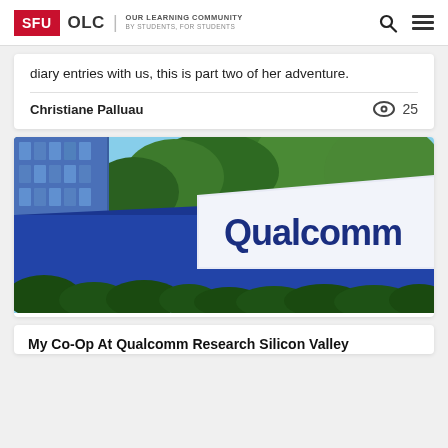SFU OLC | OUR LEARNING COMMUNITY BY STUDENTS, FOR STUDENTS
diary entries with us, this is part two of her adventure.
Christiane Palluau    25
[Figure (photo): Outdoor photo of a Qualcomm corporate building sign. Large white sign with dark blue 'Qualcomm' lettering, in front of a blue building and trees.]
My Co-Op At Qualcomm Research Silicon Valley